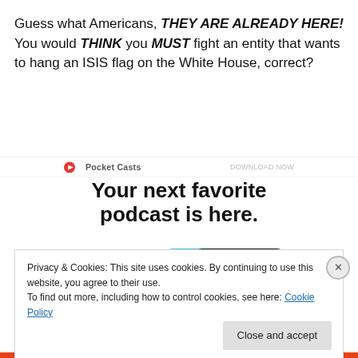Guess what Americans, THEY ARE ALREADY HERE! You would THINK you MUST fight an entity that wants to hang an ISIS flag on the White House, correct?
[Figure (screenshot): Pocket Casts advertisement banner showing 'Your next favorite podcast is here.' with smartphone mockups displaying the app interface]
Privacy & Cookies: This site uses cookies. By continuing to use this website, you agree to their use.
To find out more, including how to control cookies, see here: Cookie Policy
Close and accept